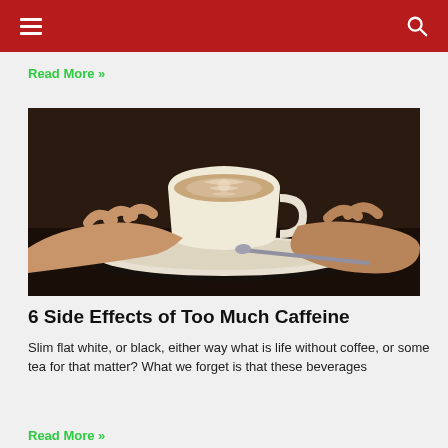Read More »
[Figure (photo): Close-up photo of hands holding a white cup and saucer with a latte art cappuccino, with a spoon on the saucer, dark background.]
6 Side Effects of Too Much Caffeine
Slim flat white, or black, either way what is life without coffee, or some tea for that matter? What we forget is that these beverages
Read More »